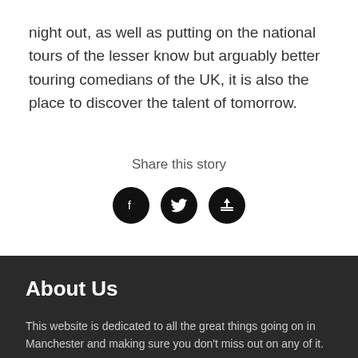night out, as well as putting on the national tours of the lesser know but arguably better touring comedians of the UK, it is also the place to discover the talent of tomorrow.
Share this story
[Figure (other): Three circular social share icons: Facebook, Twitter, and an upload/share icon, all white on black circles]
About Us
This website is dedicated to all the great things going on in Manchester and making sure you don't miss out on any of it.